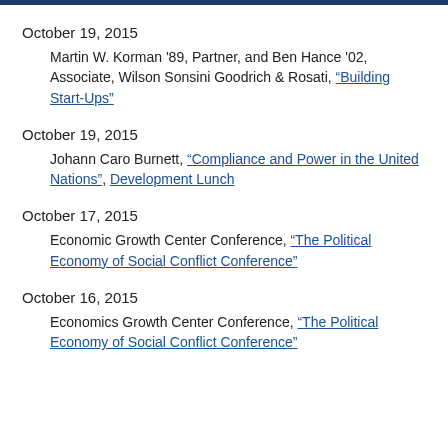October 19, 2015
Martin W. Korman '89, Partner, and Ben Hance '02, Associate, Wilson Sonsini Goodrich & Rosati, "Building Start-Ups"
October 19, 2015
Johann Caro Burnett, "Compliance and Power in the United Nations", Development Lunch
October 17, 2015
Economic Growth Center Conference, "The Political Economy of Social Conflict Conference"
October 16, 2015
Economics Growth Center Conference, "The Political Economy of Social Conflict Conference"